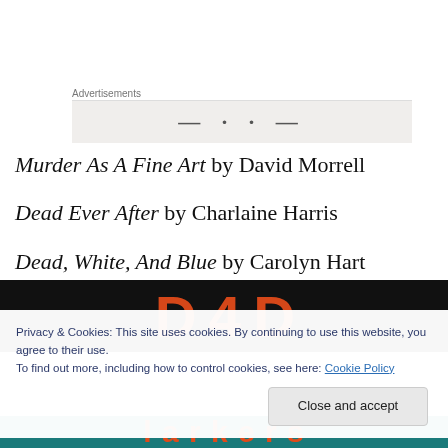Advertisements
[Figure (other): Advertisement banner placeholder with grey background]
Murder As A Fine Art by David Morrell
Dead Ever After by Charlaine Harris
Dead, White, And Blue by Carolyn Hart
[Figure (other): Black banner with large orange/red partial text letters visible]
Privacy & Cookies: This site uses cookies. By continuing to use this website, you agree to their use.
To find out more, including how to control cookies, see here: Cookie Policy
[Figure (other): Teal banner with large orange partial text at bottom]